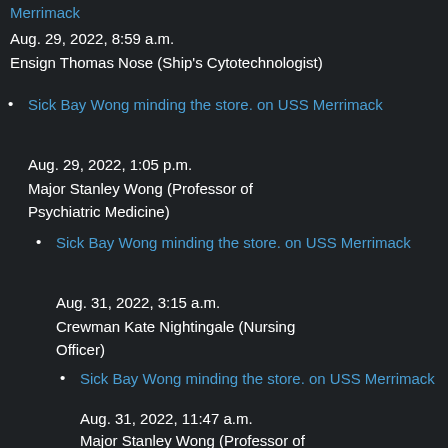Merrimack
Aug. 29, 2022, 8:59 a.m.
Ensign Thomas Nose (Ship's Cytotechnologist)
Sick Bay Wong minding the store. on USS Merrimack
Aug. 29, 2022, 1:05 p.m.
Major Stanley Wong (Professor of Psychiatric Medicine)
Sick Bay Wong minding the store. on USS Merrimack
Aug. 31, 2022, 3:15 a.m.
Crewman Kate Nightingale (Nursing Officer)
Sick Bay Wong minding the store. on USS Merrimack
Aug. 31, 2022, 11:47 a.m.
Major Stanley Wong (Professor of Psychiatric Medicine)